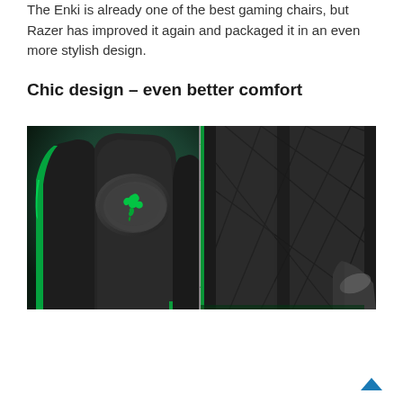The Enki is already one of the best gaming chairs, but Razer has improved it again and packaged it in an even more stylish design.
Chic design – even better comfort
[Figure (photo): Two side-by-side photos of a Razer Enki gaming chair: left image shows the black headrest/neck pillow with green Razer snake logo against dark green background; right image shows a close-up of the black quilted diamond-pattern seat back with green accent stitching.]